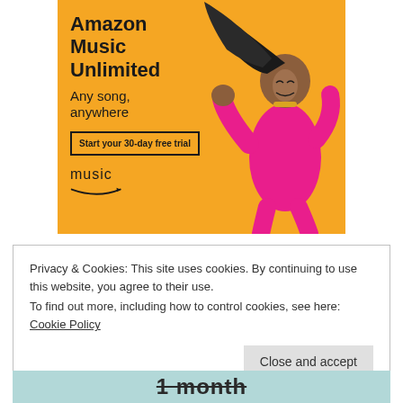[Figure (illustration): Amazon Music Unlimited advertisement banner with yellow/orange background. Left side has bold text 'Amazon Music Unlimited', tagline 'Any song, anywhere', a button 'Start your 30-day free trial', and the Amazon Music logo. Right side shows a woman in a pink jumpsuit with hair flowing, dancing joyfully.]
Privacy & Cookies: This site uses cookies. By continuing to use this website, you agree to their use.
To find out more, including how to control cookies, see here: Cookie Policy
Close and accept
1 month